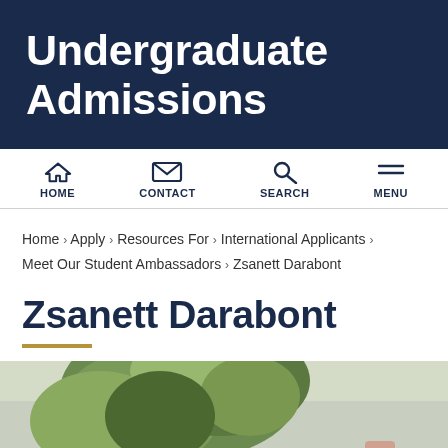Undergraduate Admissions
HOME | CONTACT | SEARCH | MENU
Home › Apply › Resources For › International Applicants › Meet Our Student Ambassadors › Zsanett Darabont
Zsanett Darabont
[Figure (photo): Outdoor photo of Zsanett Darabont, partially visible at bottom of page, with green tree foliage in background]